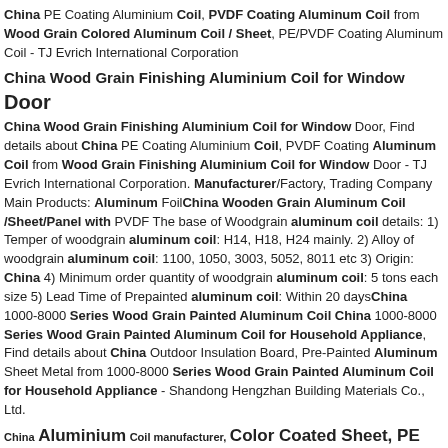China PE Coating Aluminium Coil, PVDF Coating Aluminum Coil from Wood Grain Colored Aluminum Coil / Sheet, PE/PVDF Coating Aluminum Coil - TJ Evrich International Corporation
China Wood Grain Finishing Aluminium Coil for Window Door
China Wood Grain Finishing Aluminium Coil for Window Door, Find details about China PE Coating Aluminium Coil, PVDF Coating Aluminum Coil from Wood Grain Finishing Aluminium Coil for Window Door - TJ Evrich International Corporation. Manufacturer/Factory, Trading Company Main Products: Aluminum FoilChina Wooden Grain Aluminum Coil /Sheet/Panel with PVDF The base of Woodgrain aluminum coil details: 1) Temper of woodgrain aluminum coil: H14, H18, H24 mainly. 2) Alloy of woodgrain aluminum coil: 1100, 1050, 3003, 5052, 8011 etc 3) Origin: China 4) Minimum order quantity of woodgrain aluminum coil: 5 tons each size 5) Lead Time of Prepainted aluminum coil: Within 20 daysChina 1000-8000 Series Wood Grain Painted Aluminum Coil China 1000-8000 Series Wood Grain Painted Aluminum Coil for Household Appliance, Find details about China Outdoor Insulation Board, Pre-Painted Aluminum Sheet Metal from 1000-8000 Series Wood Grain Painted Aluminum Coil for Household Appliance - Shandong Hengzhan Building Materials Co., Ltd.
China Aluminium Coil manufacturer, Color Coated Sheet, PE
Aluminium Coil manufacturer / supplier in China, offering 0.2- 5 mm Thickness Metallic Aluminium Coil/Sheet with Ce Certificate Delivery Time Is 30 to 45